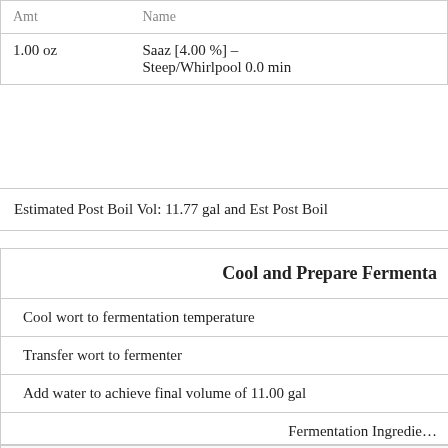| Amt | Name |
| --- | --- |
| 1.00 oz | Saaz [4.00 %] – Steep/Whirlpool 0.0 min |
Estimated Post Boil Vol: 11.77 gal and Est Post Boil
Cool and Prepare Fermentation
Cool wort to fermentation temperature
Transfer wort to fermenter
Add water to achieve final volume of 11.00 gal
Fermentation Ingredients
| Amt | Name |
| --- | --- |